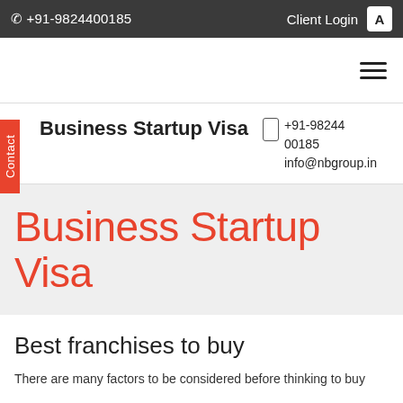☎ +91-9824400185   Client Login   A
Business Startup Visa
+91-98244 00185
info@nbgroup.in
Contact
Business Startup Visa
Best franchises to buy
There are many factors to be considered before thinking to buy